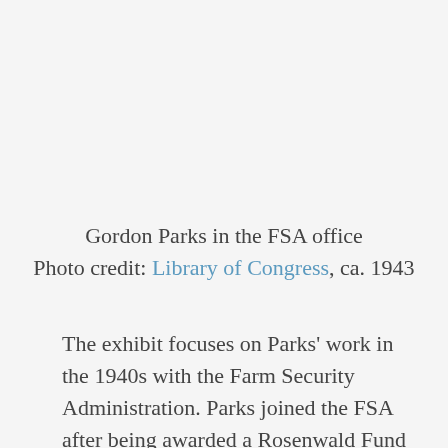Gordon Parks in the FSA office
Photo credit: Library of Congress, ca. 1943
The exhibit focuses on Parks' work in the 1940s with the Farm Security Administration. Parks joined the FSA after being awarded a Rosenwald Fund grant in 1942, which he received on the strength of his photographs of Chicago's South Side. The current exhibit displays some similar black and white portraits and street scenes of black neighborhoods in Washington, D.C. and Harlem that he took in the early 1940s